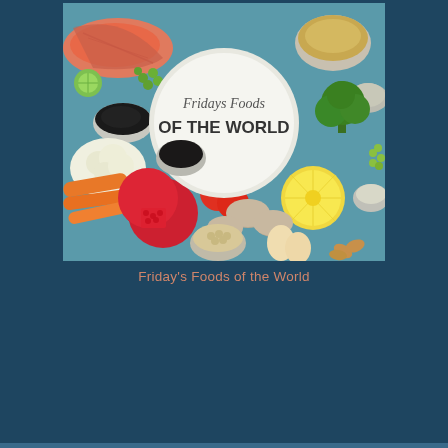[Figure (photo): Overhead flat-lay photo of various foods including salmon, vegetables (broccoli, cauliflower, carrots), pomegranate, mushrooms, eggs, bowls of grains and seeds, tomatoes, and lemon. A white plate in the center reads 'Fridays Foods OF THE WORLD' in handwritten and bold text.]
Friday's Foods of the World